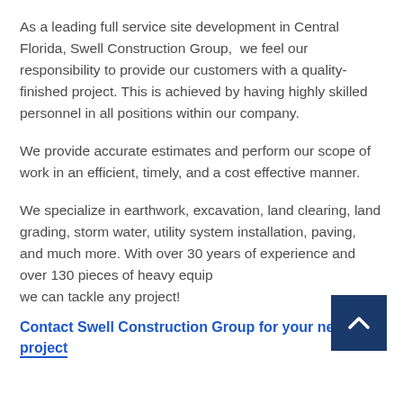As a leading full service site development in Central Florida, Swell Construction Group,  we feel our responsibility to provide our customers with a quality-finished project. This is achieved by having highly skilled personnel in all positions within our company.
We provide accurate estimates and perform our scope of work in an efficient, timely, and a cost effective manner.
We specialize in earthwork, excavation, land clearing, land grading, storm water, utility system installation, paving, and much more. With over 30 years of experience and over 130 pieces of heavy equipment, we can tackle any project!
Contact Swell Construction Group for your next project